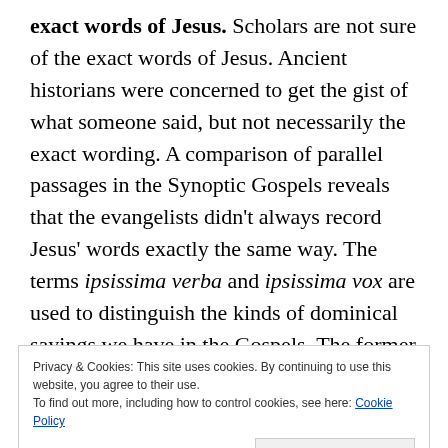exact words of Jesus. Scholars are not sure of the exact words of Jesus. Ancient historians were concerned to get the gist of what someone said, but not necessarily the exact wording. A comparison of parallel passages in the Synoptic Gospels reveals that the evangelists didn't always record Jesus' words exactly the same way. The terms ipsissima verba and ipsissima vox are used to distinguish the kinds of dominical sayings we have in the Gospels. The former means 'the very words,' and the latter means 'the very voice.' That is, the exact
Privacy & Cookies: This site uses cookies. By continuing to use this website, you agree to their use.
To find out more, including how to control cookies, see here: Cookie Policy
Close and accept
red-letter editions of the Bible may give comfort to